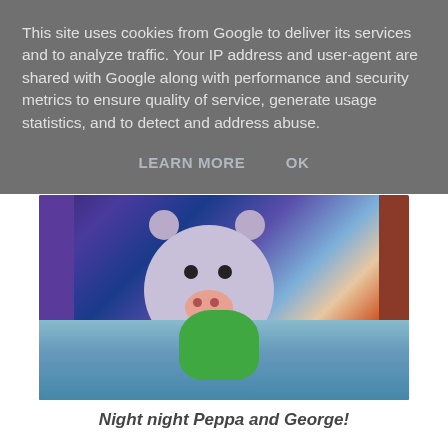This site uses cookies from Google to deliver its services and to analyze traffic. Your IP address and user-agent are shared with Google along with performance and security metrics to ensure quality of service, generate usage statistics, and to detect and address abuse.
LEARN MORE    OK
[Figure (photo): A Peppa Pig George character puppet lying in a bunk bed, smiling, with a frog toy, under blue blankets]
Night night Peppa and George!
[Figure (photo): Partially visible blue background image, bottom portion of the page]